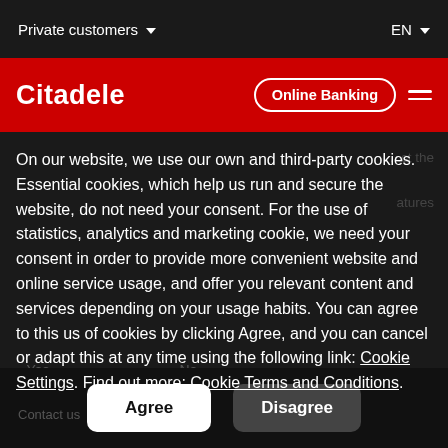Private customers    EN
Citadele
On our website, we use our own and third-party cookies. Essential cookies, which help us run and secure the website, do not need your consent. For the use of statistics, analytics and marketing cookie, we need your consent in order to provide more convenient website and online service usage, and offer you relevant content and services depending on your usage habits. You can agree to this us of cookies by clicking Agree, and you can cancel or adapt this at any time using the following link: Cookie Settings. Find out more: Cookie Terms and Conditions.